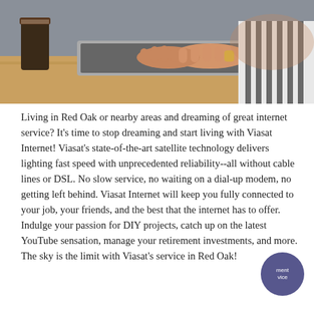[Figure (photo): A person typing on a laptop at a wooden desk with a coffee cup nearby. The person is wearing a striped sleeveless top and a gold bracelet. The photo is cropped to show hands and torso only.]
Living in Red Oak or nearby areas and dreaming of great internet service? It's time to stop dreaming and start living with Viasat Internet! Viasat's state-of-the-art satellite technology delivers lighting fast speed with unprecedented reliability--all without cable lines or DSL. No slow service, no waiting on a dial-up modem, no getting left behind. Viasat Internet will keep you fully connected to your job, your friends, and the best that the internet has to offer. Indulge your passion for DIY projects, catch up on the latest YouTube sensation, manage your retirement investments, and more. The sky is the limit with Viasat's service in Red Oak!